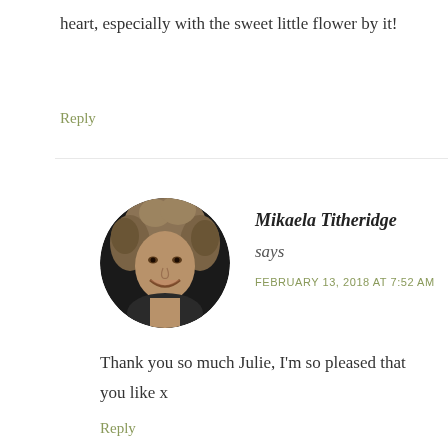heart, especially with the sweet little flower by it!
Reply
[Figure (photo): Black and white circular avatar photo of Mikaela Titheridge, a woman with curly hair, smiling]
Mikaela Titheridge
says
FEBRUARY 13, 2018 AT 7:52 AM
Thank you so much Julie, I'm so pleased that you like x
Reply